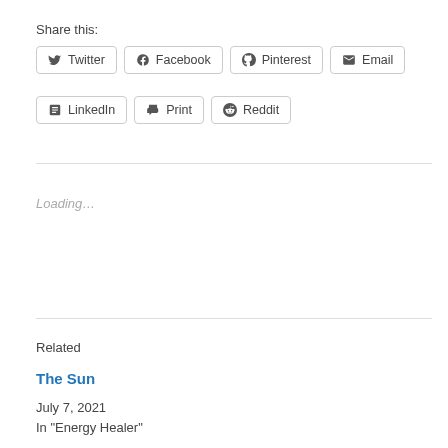Share this:
Twitter
Facebook
Pinterest
Email
LinkedIn
Print
Reddit
Loading...
Related
The Sun
July 7, 2021
In "Energy Healer"